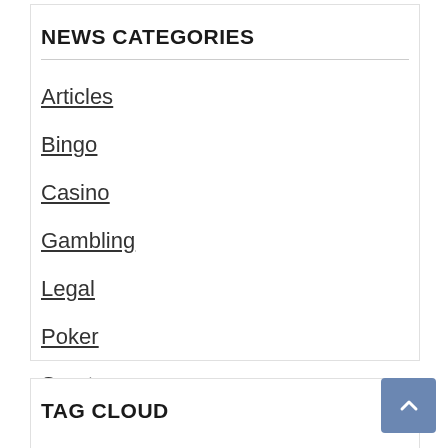NEWS CATEGORIES
Articles
Bingo
Casino
Gambling
Legal
Poker
Sports
TAG CLOUD